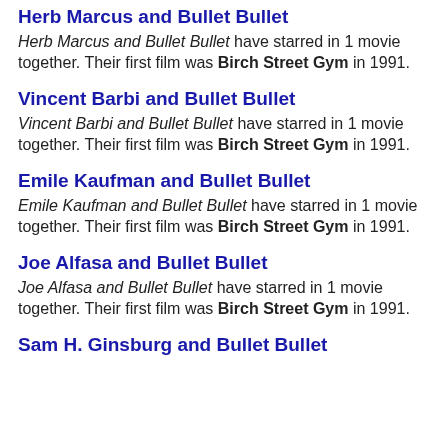Herb Marcus and Bullet Bullet
Herb Marcus and Bullet Bullet have starred in 1 movie together. Their first film was Birch Street Gym in 1991.
Vincent Barbi and Bullet Bullet
Vincent Barbi and Bullet Bullet have starred in 1 movie together. Their first film was Birch Street Gym in 1991.
Emile Kaufman and Bullet Bullet
Emile Kaufman and Bullet Bullet have starred in 1 movie together. Their first film was Birch Street Gym in 1991.
Joe Alfasa and Bullet Bullet
Joe Alfasa and Bullet Bullet have starred in 1 movie together. Their first film was Birch Street Gym in 1991.
Sam H. Ginsburg and Bullet Bullet